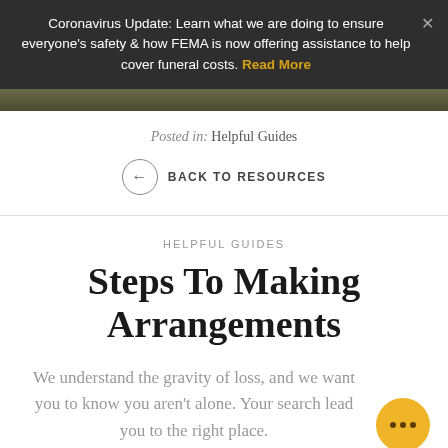Coronavirus Update: Learn what we are doing to ensure everyone's safety & how FEMA is now offering assistance to help cover funeral costs. Read More
Posted in: Helpful Guides
← BACK TO RESOURCES
HELPFUL GUIDES
Steps To Making Arrangements
We understand the gravity of loss, and we want you to know you aren't alone. Your search lead you to the right place.